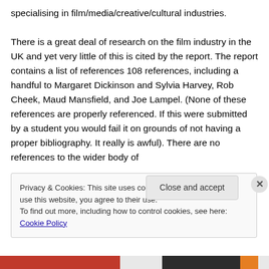specialising in film/media/creative/cultural industries.

There is a great deal of research on the film industry in the UK and yet very little of this is cited by the report. The report contains a list of references 108 references, including a handful to Margaret Dickinson and Sylvia Harvey, Rob Cheek, Maud Mansfield, and Joe Lampel. (None of these references are properly referenced. If this were submitted by a student you would fail it on grounds of not having a proper bibliography. It really is awful). There are no references to the wider body of
Privacy & Cookies: This site uses cookies. By continuing to use this website, you agree to their use.
To find out more, including how to control cookies, see here: Cookie Policy
Close and accept